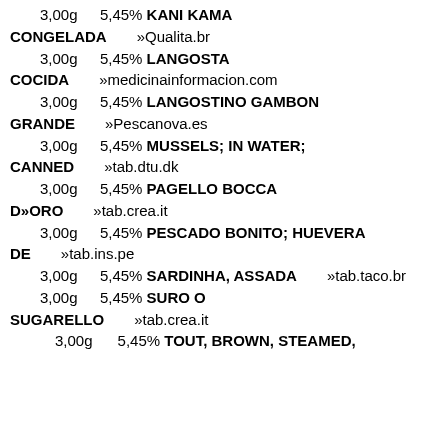____3,00g __ 5,45% KANI KAMA CONGELADA___»Qualita.br
____3,00g __ 5,45% LANGOSTA COCIDA___»medicinainformacion.com
____3,00g __ 5,45% LANGOSTINO GAMBON GRANDE___»Pescanova.es
____3,00g __ 5,45% MUSSELS; IN WATER; CANNED___»tab.dtu.dk
____3,00g __ 5,45% PAGELLO BOCCA D»ORO___»tab.crea.it
____3,00g __ 5,45% PESCADO BONITO; HUEVERA DE___»tab.ins.pe
____3,00g __ 5,45% SARDINHA, ASSADA___»tab.taco.br
____3,00g __ 5,45% SURO O SUGARELLO___»tab.crea.it
3,00g    5,45% TOUT, BROWN, STEAMED,